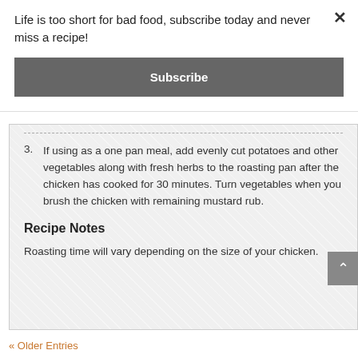Life is too short for bad food, subscribe today and never miss a recipe!
Subscribe
×
3. If using as a one pan meal, add evenly cut potatoes and other vegetables along with fresh herbs to the roasting pan after the chicken has cooked for 30 minutes. Turn vegetables when you brush the chicken with remaining mustard rub.
Recipe Notes
Roasting time will vary depending on the size of your chicken.
« Older Entries